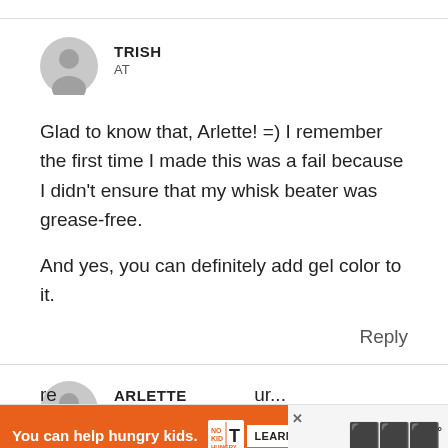[Figure (illustration): Gray circular user avatar icon for commenter Trish]
TRISH
AT
Glad to know that, Arlette! =) I remember the first time I made this was a fail because I didn't ensure that my whisk beater was grease-free.

And yes, you can definitely add gel color to it.
Reply
[Figure (illustration): Gray circular user avatar icon for commenter Arlette]
ARLETTE
AT
When do I need to take the butter out of the re...ur...
[Figure (infographic): Advertisement banner: orange section with 'You can help hungry kids.' No Kid Hungry logo, Learn How button; right side with close X and streaming logo]